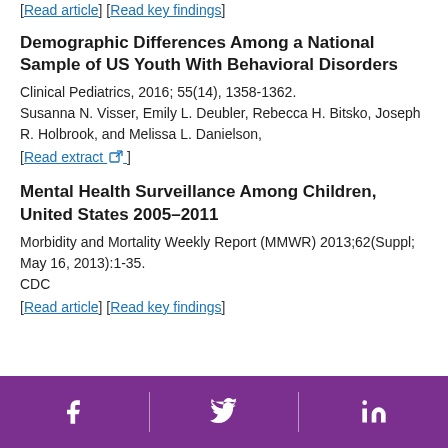[Read article] [Read key findings]
Demographic Differences Among a National Sample of US Youth With Behavioral Disorders
Clinical Pediatrics, 2016; 55(14), 1358-1362.
Susanna N. Visser, Emily L. Deubler, Rebecca H. Bitsko, Joseph R. Holbrook, and Melissa L. Danielson,
[Read extract]
Mental Health Surveillance Among Children, United States 2005–2011
Morbidity and Mortality Weekly Report (MMWR) 2013;62(Suppl; May 16, 2013):1-35.
CDC
[Read article] [Read key findings]
Social media icons: Facebook, Twitter, LinkedIn